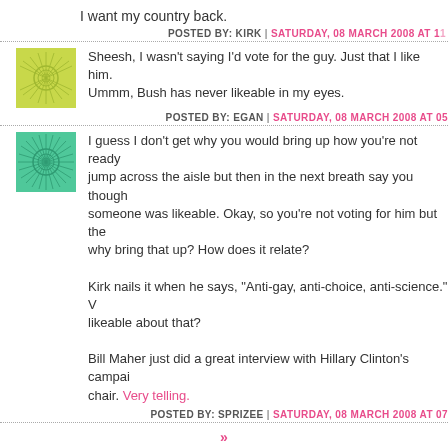I want my country back.
POSTED BY: KIRK | SATURDAY, 08 MARCH 2008 AT 11...
Sheesh, I wasn't saying I'd vote for the guy. Just that I like him. Ummm, Bush has never likeable in my eyes.
POSTED BY: EGAN | SATURDAY, 08 MARCH 2008 AT 05...
I guess I don't get why you would bring up how you're not ready to jump across the aisle but then in the next breath say you thought someone was likeable. Okay, so you're not voting for him but the why bring that up? How does it relate?

Kirk nails it when he says, "Anti-gay, anti-choice, anti-science." W... likeable about that?

Bill Maher just did a great interview with Hillary Clinton's campai... chair. Very telling.
POSTED BY: SPRIZEE | SATURDAY, 08 MARCH 2008 AT 07...
»